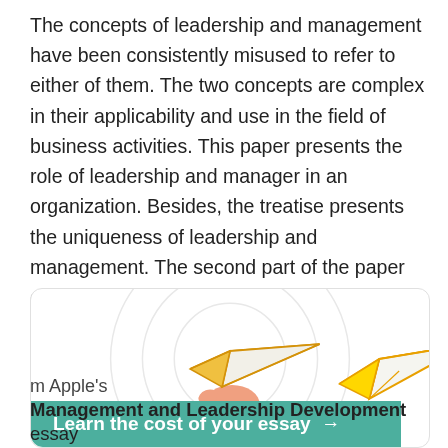The concepts of leadership and management have been consistently misused to refer to either of them. The two concepts are complex in their applicability and use in the field of business activities. This paper presents the role of leadership and manager in an organization. Besides, the treatise presents the uniqueness of leadership and management. The second part of the paper examines ethics and morality in an organization, how they are modeled by organization leaders, and enforced by the organization managers.
[Figure (illustration): A promotional box with a light grey rounded border containing concentric circle rings in the background, a paper airplane illustration (white/cream with orange/yellow outline held by a hand with peach skin tone), and a green rounded button at the bottom reading 'Learn the cost of your essay →']
m Apple's Management and Leadership Development essay